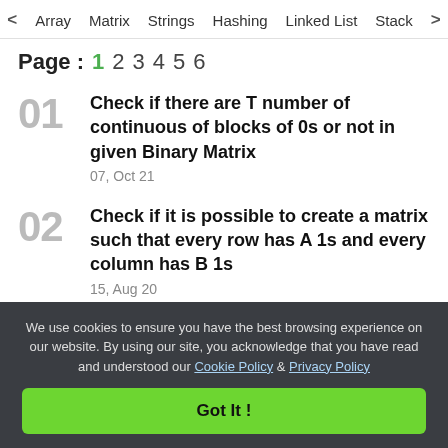< Array  Matrix  Strings  Hashing  Linked List  Stack >
Page : 1 2 3 4 5 6
01 Check if there are T number of continuous of blocks of 0s or not in given Binary Matrix
07, Oct 21
02 Check if it is possible to create a matrix such that every row has A 1s and every column has B 1s
15, Aug 20
We use cookies to ensure you have the best browsing experience on our website. By using our site, you acknowledge that you have read and understood our Cookie Policy & Privacy Policy
Got It !